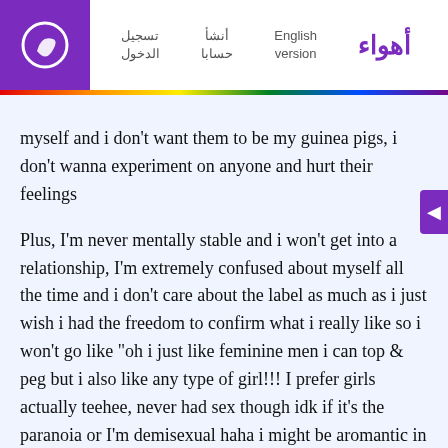أهواء  English version  أنشأ حسابا  تسجيل الدخول
myself and i don't want them to be my guinea pigs, i don't wanna experiment on anyone and hurt their feelings

Plus, I'm never mentally stable and i won't get into a relationship, I'm extremely confused about myself all the time and i don't care about the label as much as i just wish i had the freedom to confirm what i really like so i won't go like "oh i just like feminine men i can top & peg but i also like any type of girl!!! I prefer girls actually teehee, never had sex though idk if it's the paranoia or I'm demisexual haha i might be aromantic in the end who knows, and sex may turn out to be overrated"